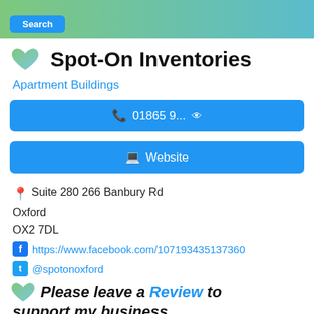[Figure (screenshot): Banner header with green-to-teal gradient and a blue Search button in the bottom-left]
Spot-On Inventories
Apartment Buildings
📞 01865 9... 👁
🖥 Website
Suite 280 266 Banbury Rd
Oxford
OX2 7DL
https://www.facebook.com/107193435137360
@spotonoxford
Please leave a Review to support my business.